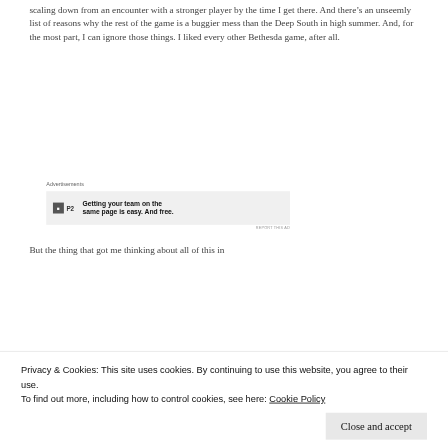scaling down from an encounter with a stronger player by the time I get there. And there's an unseemly list of reasons why the rest of the game is a buggier mess than the Deep South in high summer. And, for the most part, I can ignore those things. I liked every other Bethesda game, after all.
Advertisements
[Figure (other): Advertisement banner for P2 service with logo and text: Getting your team on the same page is easy. And free.]
But the thing that got me thinking about all of this in
Privacy & Cookies: This site uses cookies. By continuing to use this website, you agree to their use.
To find out more, including how to control cookies, see here: Cookie Policy
and countless forum posts: There are no human NPCs